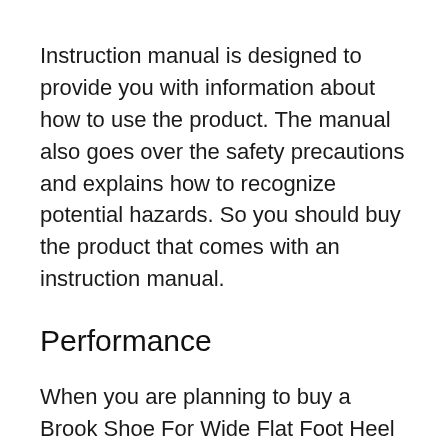Instruction manual is designed to provide you with information about how to use the product. The manual also goes over the safety precautions and explains how to recognize potential hazards. So you should buy the product that comes with an instruction manual.
Performance
When you are planning to buy a Brook Shoe For Wide Flat Foot Heel Striker, you will definitely think of